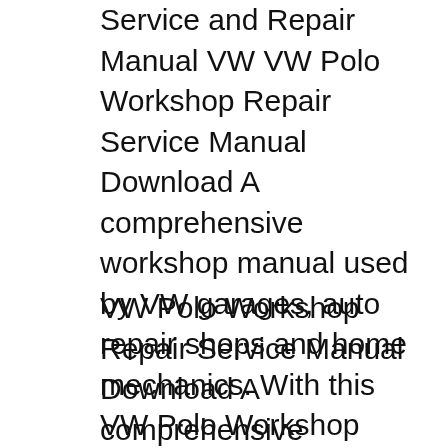Service and Repair Manual VW VW Polo Workshop Repair Service Manual Download A comprehensive workshop manual used by VW garages, auto repair shops and home mechanics. With this VW Polo Workshop manual, you will have all the information required to perform every job that could be done at high cost by garages from changing spark plugs, brakes fluids, oil changes, engine
VW Polo Workshop Repair Service Manual Download A comprehensive workshop manual used by VW garages, auto repair shops and home mechanics. With this VW Polo Workshop manual, you will have all the information